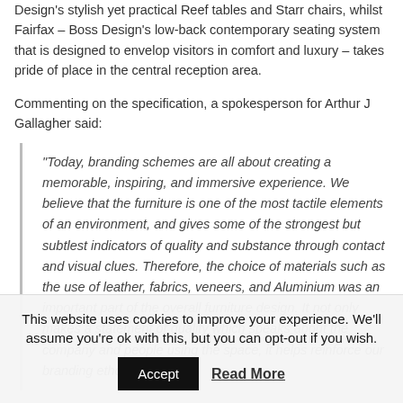Design's stylish yet practical Reef tables and Starr chairs, whilst Fairfax – Boss Design's low-back contemporary seating system that is designed to envelop visitors in comfort and luxury – takes pride of place in the central reception area.
Commenting on the specification, a spokesperson for Arthur J Gallagher said:
"Today, branding schemes are all about creating a memorable, inspiring, and immersive experience. We believe that the furniture is one of the most tactile elements of an environment, and gives some of the strongest but subtlest indicators of quality and substance through contact and visual clues. Therefore, the choice of materials such as the use of leather, fabrics, veneers, and Aluminium was an important part of the overall furniture design. It not only makes a statement of quality which speaks about the company and people using the space, it helps reinforce our branding ethos."
Brian Murray, Managing Director at Boss Design said:
This website uses cookies to improve your experience. We'll assume you're ok with this, but you can opt-out if you wish.